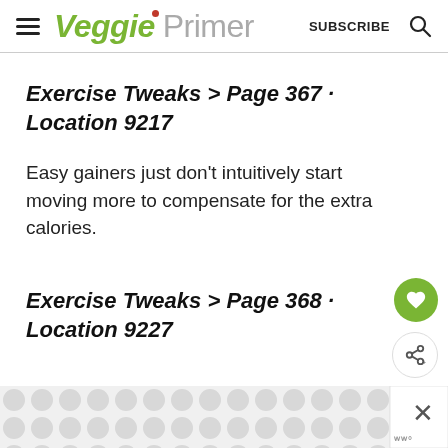Veggie Primer — SUBSCRIBE
Exercise Tweaks > Page 367 · Location 9217
Easy gainers just don't intuitively start moving more to compensate for the extra calories.
Exercise Tweaks > Page 368 · Location 9227
[Figure (other): Advertisement banner with circular dot pattern background and close button]